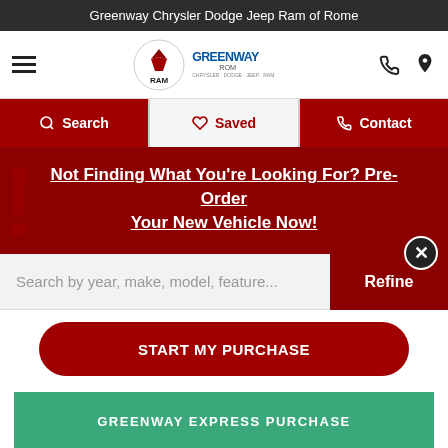Greenway Chrysler Dodge Jeep Ram of Rome
[Figure (logo): RAM truck logo and Greenway ROM dealership logo]
Search | Saved | Contact
Not Finding What You're Looking For? Pre-Order Your New Vehicle Now!
Search by year, make, model, feature...
Refine
START MY PURCHASE
GREENWAY EXPRESS PURCHASE
SCHEDULE [SERVICE APPOINTMENT]
Chat Live
Text Us
VALUE MY TRADE